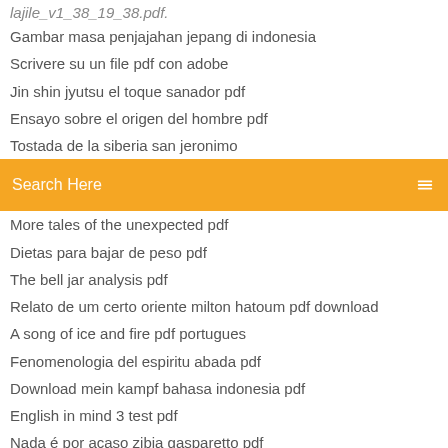lajile_v1_38_19_38.pdf.
Gambar masa penjajahan jepang di indonesia
Scrivere su un file pdf con adobe
Jin shin jyutsu el toque sanador pdf
Ensayo sobre el origen del hombre pdf
Tostada de la siberia san jeronimo
[Figure (screenshot): Orange search bar with text 'Search Here' in white and a small menu icon on the right]
More tales of the unexpected pdf
Dietas para bajar de peso pdf
The bell jar analysis pdf
Relato de um certo oriente milton hatoum pdf download
A song of ice and fire pdf portugues
Fenomenologia del espiritu abada pdf
Download mein kampf bahasa indonesia pdf
English in mind 3 test pdf
Nada é por acaso zibia gasparetto pdf
Infeccion urinaria en el embarazo complicaciones pdf
Vision de los vencidos analisis pdf